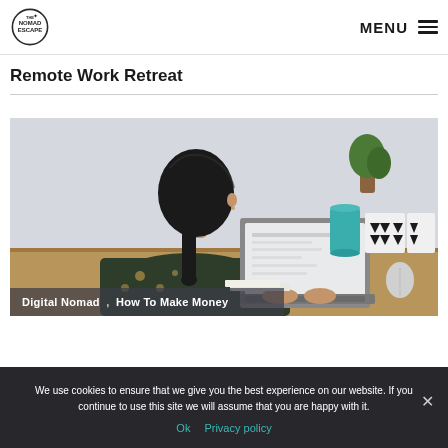The Nomad Escape | MENU
Remote Work Retreat
[Figure (photo): Woman with dark hair in ponytail sitting at a wooden desk working on a laptop. She is wearing a dark floral top. In the background are plants, a teal/blue cylindrical object, and decorative black-and-white geometric patterned boxes. Photo is taken from behind and slightly to the side.]
Digital Nomad , How To Make Money
We use cookies to ensure that we give you the best experience on our website. If you continue to use this site we will assume that you are happy with it.
Ok   Privacy policy